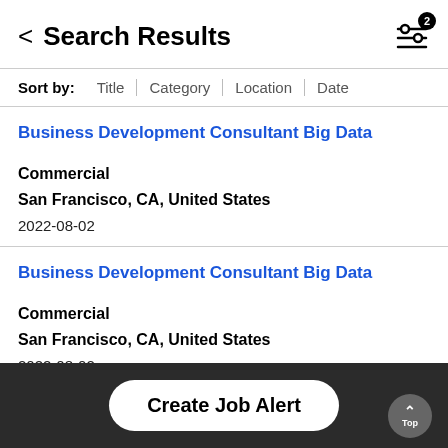Search Results
Sort by: Title | Category | Location | Date
Business Development Consultant Big Data
Commercial
San Francisco, CA, United States
2022-08-02
Business Development Consultant Big Data
Commercial
San Francisco, CA, United States
2022-08-02
Business Sa...
Create Job Alert